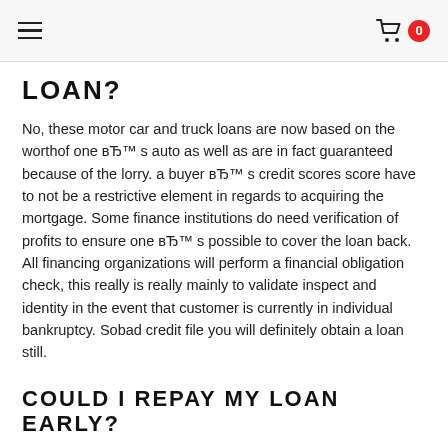≡  🛒 0
LOAN?
No, these motor car and truck loans are now based on the worthof one вЂ™ s auto as well as are in fact guaranteed because of the lorry. a buyer вЂ™ s credit scores score have to not be a restrictive element in regards to acquiring the mortgage. Some finance institutions do need verification of profits to ensure one вЂ™ s possible to cover the loan back. All financing organizations will perform a financial obligation check, this really is really mainly to validate inspect and identity in the event that customer is currently in individual bankruptcy. Sobad credit file you will definitely obtain a loan still.
COULD I REPAY MY LOAN EARLY?
There commonly are no costs or added prices for extremely very early payment https://badcreditloanslist.comt/payday-loans-wv/ that is monthly althoughthe candidate has to double-check the costly payday loan deal to be sure here is the instance. The